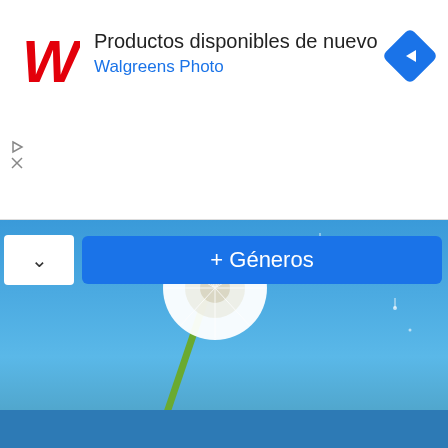[Figure (screenshot): Walgreens Photo advertisement banner showing logo, text 'Productos disponibles de nuevo', subtitle 'Walgreens Photo', navigation arrow icon, and ad controls (play and close buttons)]
Productos disponibles de nuevo
Walgreens Photo
[Figure (screenshot): A '+ Géneros' blue button bar overlaid on a photo of a dandelion against a blue sky background. The lower portion shows a darker blue area.]